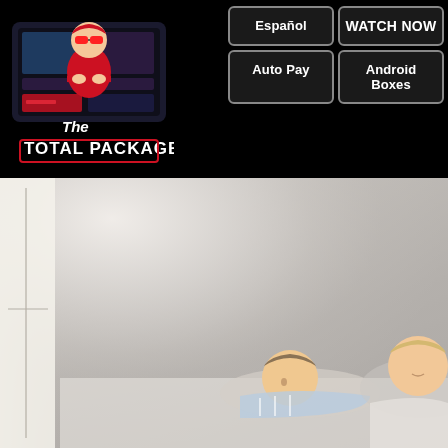[Figure (logo): The Total Package IPTV logo — cartoon man in red shirt and sunglasses with arms crossed, standing in front of a TV screen showing streaming interface. Text reads 'The TOTAL PACKAGE' in stylized font.]
Español
WATCH NOW
Auto Pay
Android Boxes
[Figure (photo): A mother and child (young boy) lying on a bed, both smiling and looking toward the right. Light, bright bedroom setting with white/light gray tones. Natural window light coming from the left.]